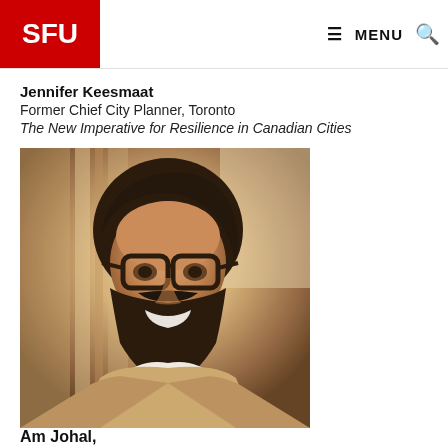SFU | MENU
Jennifer Keesmaat
Former Chief City Planner, Toronto
The New Imperative for Resilience in Canadian Cities
[Figure (photo): Portrait photo of a man with dark hair, beard, and black-rimmed glasses, smiling, wearing a light blazer over a white shirt, photographed indoors with warm ambient lighting]
Am Johal,